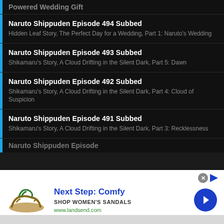Powered Wedding Gift (partial, top)
Naruto Shippuden Episode 494 Subbed
Hidden Leaf Story, The Perfect Day for a Wedding, Part 1: Naruto's Wedding
Naruto Shippuden Episode 493 Subbed
Shikamaru's Story, A Cloud Drifting in the Silent Dark, Part 5: Dawn
Naruto Shippuden Episode 492 Subbed
Shikamaru's Story, A Cloud Drifting in the Silent Dark, Part 4: Cloud of Suspicion
Naruto Shippuden Episode 491 Subbed
Shikamaru's Story, A Cloud Drifting in the Silent Dark, Part 3: Recklessness
(partial item, bottom)
[Figure (screenshot): Advertisement banner for Lands' End women's sandals. Shows a sandal image on the left, text 'Next Step: Comfy', 'SHOP WOMEN'S SANDALS', 'www.landsend.com', a blue circular arrow button on the right, and a close (X) button at top right.]